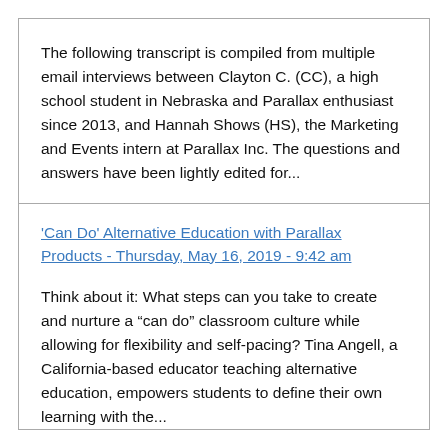The following transcript is compiled from multiple email interviews between Clayton C. (CC), a high school student in Nebraska and Parallax enthusiast since 2013, and Hannah Shows (HS), the Marketing and Events intern at Parallax Inc. The questions and answers have been lightly edited for...
'Can Do' Alternative Education with Parallax Products - Thursday, May 16, 2019 - 9:42 am
Think about it: What steps can you take to create and nurture a “can do” classroom culture while allowing for flexibility and self-pacing? Tina Angell, a California-based educator teaching alternative education, empowers students to define their own learning with the...